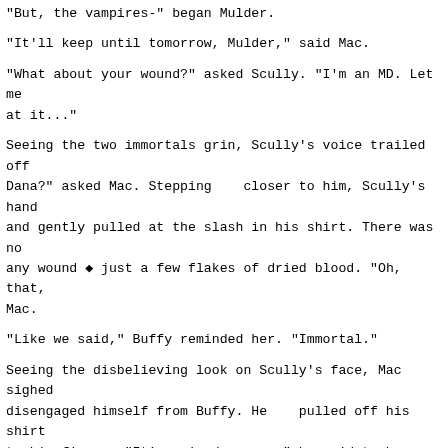"But, the vampires-" began Mulder.
"It'll keep until tomorrow, Mulder," said Mac.
"What about your wound?" asked Scully. "I'm an MD. Let me at it..."
Seeing the two immortals grin, Scully's voice trailed off. "Dana?" asked Mac. Stepping   closer to him, Scully's hand and gently pulled at the slash in his shirt. There was no any wound ◆ just a few flakes of dried blood. "Oh, that, Mac.
"Like we said," Buffy reminded her. "Immortal."
Seeing the disbelieving look on Scully's face, Mac sighed disengaged himself from Buffy. He   pulled off his shirt to his fiance. "It's ruined anyway," he said to her as he folding knife from his belt.
Mac opened the blade and cut deeply into his arm, grittin he drove it through the meat   and drew it up several inc elbow. Buffy held the shirt under his arm as he pulled th out. Scully took a step forward but stopped when Buffy g young woman's meaning   was clear ◆ *no one* was getting right now.
Mulder moved up next to Scully and watched as O'Byrne he to them.